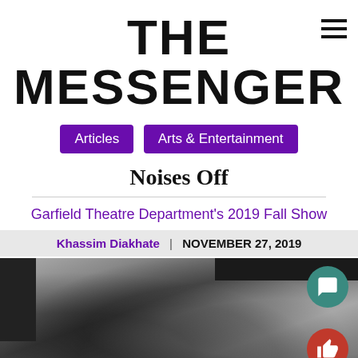THE MESSENGER
Articles
Arts & Entertainment
Noises Off
Garfield Theatre Department’s 2019 Fall Show
Khassim Diakhate | NOVEMBER 27, 2019
[Figure (photo): Black and white group photo of theatre cast members on stage, approximately 10-12 people in dark clothing posing together on a theatre set]